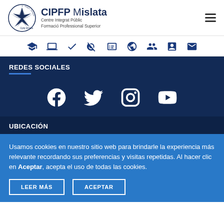[Figure (logo): CIPFP Mislata logo with circular emblem and text 'CIPFP Mislata, Centre Integrat Públic Formació Professional Superior']
[Figure (infographic): Navigation icon bar with 9 icons: graduation cap, laptop, checkmark, strikethrough eye, ID card, globe, group, person, envelope]
REDES SOCIALES
[Figure (infographic): Social media icons row: Facebook, Twitter, Instagram, YouTube — white icons on dark blue background]
UBICACIÓN
Usamos cookies en nuestro sitio web para brindarle la experiencia más relevante recordando sus preferencias y visitas repetidas. Al hacer clic en Aceptar, acepta el uso de todas las cookies.
LEER MÁS  ACEPTAR